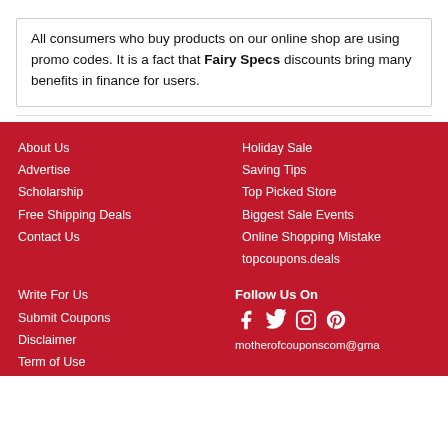All consumers who buy products on our online shop are using promo codes. It is a fact that Fairy Specs discounts bring many benefits in finance for users.
About Us
Advertise
Scholarship
Free Shipping Deals
Contact Us
Holiday Sale
Saving Tips
Top Picked Store
Biggest Sale Events
Online Shopping Mistake
topcoupons.deals
Write For Us
Submit Coupons
Disclaimer
Term of Use
Follow Us On
motherofcouponscom@gma